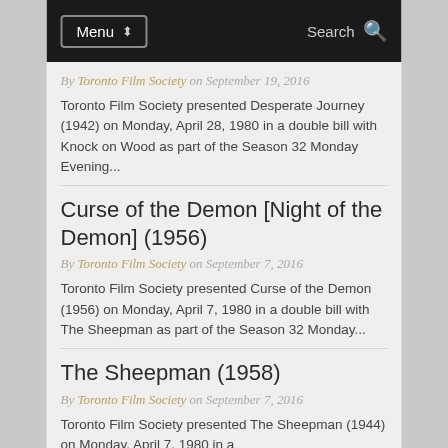Menu | Search
By Toronto Film Society on September 19, 2016
Toronto Film Society presented Desperate Journey (1942) on Monday, April 28, 1980 in a double bill with Knock on Wood as part of the Season 32 Monday Evening...
Curse of the Demon [Night of the Demon] (1956)
By Toronto Film Society on September 7, 2016
Toronto Film Society presented Curse of the Demon (1956) on Monday, April 7, 1980 in a double bill with The Sheepman as part of the Season 32 Monday...
The Sheepman (1958)
By Toronto Film Society on September 7, 2016
Toronto Film Society presented The Sheepman (1944) on Monday, April 7, 1980 in a